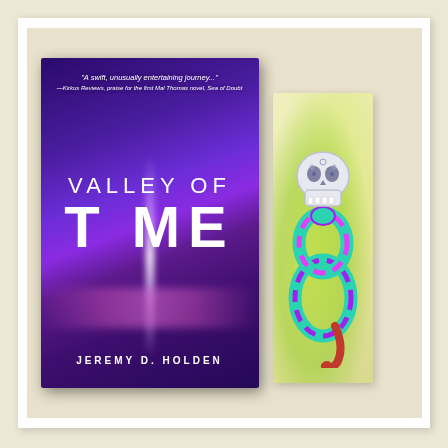[Figure (photo): Photo of the book 'Valley of Time' by Jeremy D. Holden placed next to a decorative bookmark featuring a skull and snake illustration on a yellow-green background. The book has a dark purple cover with a light beam design and the text 'A swift, unusually entertaining journey...' quote at the top.]